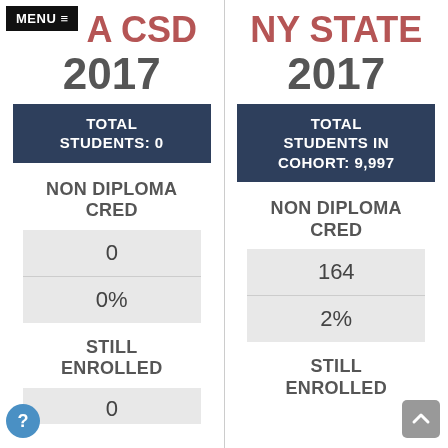MENU ≡ A CSD
2017
TOTAL STUDENTS: 0
NON DIPLOMA CRED
0
0%
STILL ENROLLED
0
NY STATE
2017
TOTAL STUDENTS IN COHORT: 9,997
NON DIPLOMA CRED
164
2%
STILL ENROLLED